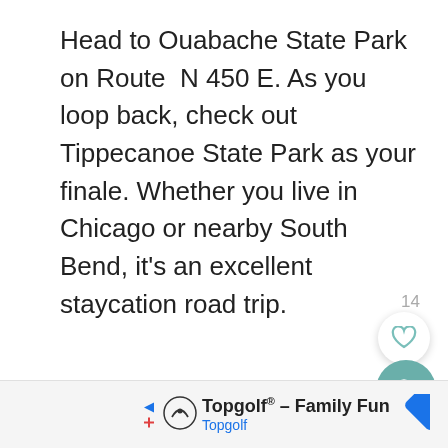Head to Ouabache State Park on Route  N 450 E. As you loop back, check out Tippecanoe State Park as your finale. Whether you live in Chicago or nearby South Bend, it's an excellent staycation road trip.
14
[Figure (other): UI buttons: heart/favorite button (white circle with heart outline) and search button (teal circle with magnifying glass icon), with page number 14 above]
[Figure (other): Advertisement banner: Topgolf - Family Fun, Topgolf logo with play/close icons on left, navigation arrow icon on right]